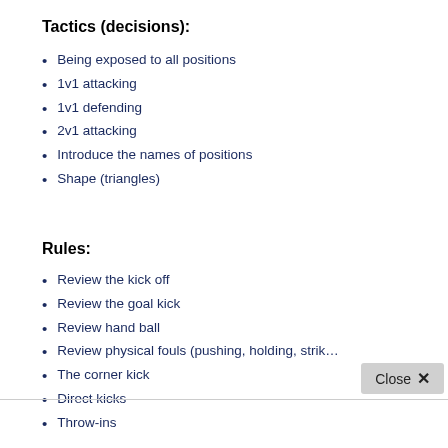Tactics (decisions):
Being exposed to all positions
1v1 attacking
1v1 defending
2v1 attacking
Introduce the names of positions
Shape (triangles)
Rules:
Review the kick off
Review the goal kick
Review hand ball
Review physical fouls (pushing, holding, strik...
The corner kick
Direct kicks
Throw-ins